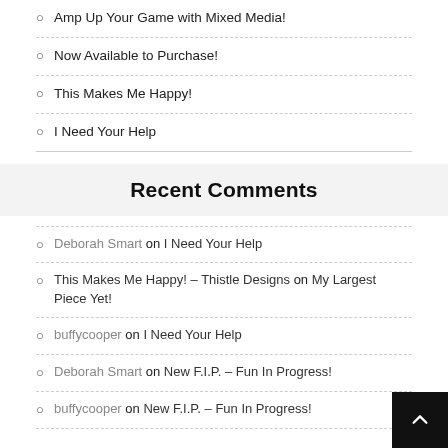Amp Up Your Game with Mixed Media!
Now Available to Purchase!
This Makes Me Happy!
I Need Your Help
Recent Comments
Deborah Smart on I Need Your Help
This Makes Me Happy! – Thistle Designs on My Largest Piece Yet!
buffycooper on I Need Your Help
Deborah Smart on New F.I.P. – Fun In Progress!
buffycooper on New F.I.P. – Fun In Progress!